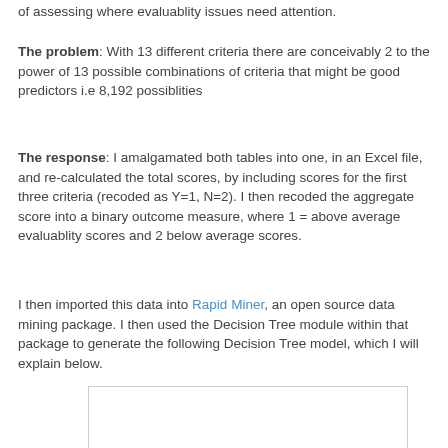of assessing where evaluablity issues need attention.
The problem: With 13 different criteria there are conceivably 2 to the power of 13 possible combinations of criteria that might be good predictors i.e 8,192 possiblities
The response: I amalgamated both tables into one, in an Excel file, and re-calculated the total scores, by including scores for the first three criteria (recoded as Y=1, N=2). I then recoded the aggregate score into a binary outcome measure, where 1 = above average evaluablity scores and 2 below average scores.
I then imported this data into Rapid Miner, an open source data mining package. I then used the Decision Tree module within that package to generate the following Decision Tree model, which I will explain below.
[Figure (other): Empty white box with border, beginning of a Decision Tree figure]